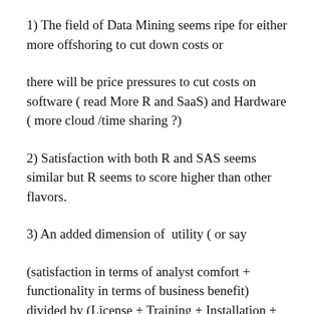1) The field of Data Mining seems ripe for either more offshoring to cut down costs or
there will be price pressures to cut costs on software ( read More R and SaaS) and Hardware ( more cloud /time sharing ?)
2) Satisfaction with both R and SAS seems similar but R seems to score higher than other flavors.
3) An added dimension of  utility ( or say
(satisfaction in terms of analyst comfort + functionality in terms of business benefit) divided by (License + Training + Installation +